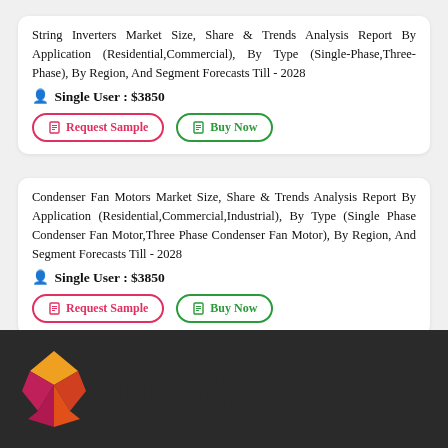String Inverters Market Size, Share & Trends Analysis Report By Application (Residential,Commercial), By Type (Single-Phase,Three-Phase), By Region, And Segment Forecasts Till - 2028
Single User : $3850
Request Sample | Buy Now
Condenser Fan Motors Market Size, Share & Trends Analysis Report By Application (Residential,Commercial,Industrial), By Type (Single Phase Condenser Fan Motor,Three Phase Condenser Fan Motor), By Region, And Segment Forecasts Till - 2028
Single User : $3850
Request Sample | Buy Now
[Figure (logo): Statistify logo: geometric diamond shape in red, orange, yellow colors with dark text 'tatistify' on dark background]